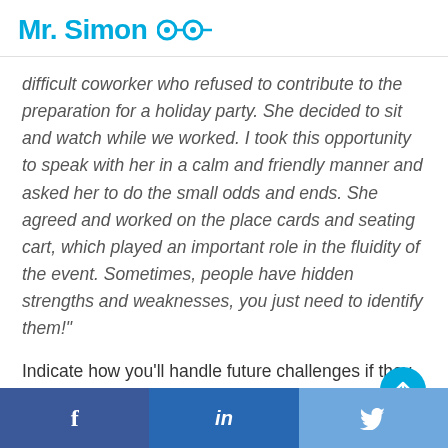Mr. Simon
difficult coworker who refused to contribute to the preparation for a holiday party. She decided to sit and watch while we worked. I took this opportunity to speak with her in a calm and friendly manner and asked her to do the small odds and ends. She agreed and worked on the place cards and seating cart, which played an important role in the fluidity of the event. Sometimes, people have hidden strengths and weaknesses, you just need to identify them!"
Indicate how you'll handle future challenges if they happen.
f  in  (twitter bird)